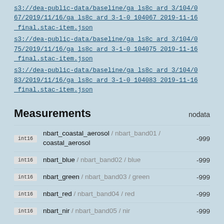s3://dea-public-data/baseline/ga_ls8c_ard_3/104/067/2019/11/16/ga_ls8c_ard_3-1-0_104067_2019-11-16_final.stac-item.json
s3://dea-public-data/baseline/ga_ls8c_ard_3/104/075/2019/11/16/ga_ls8c_ard_3-1-0_104075_2019-11-16_final.stac-item.json
s3://dea-public-data/baseline/ga_ls8c_ard_3/104/083/2019/11/16/ga_ls8c_ard_3-1-0_104083_2019-11-16_final.stac-item.json
Measurements
| type | name | nodata |
| --- | --- | --- |
| int16 | nbart_coastal_aerosol / nbart_band01 / coastal_aerosol | -999 |
| int16 | nbart_blue / nbart_band02 / blue | -999 |
| int16 | nbart_green / nbart_band03 / green | -999 |
| int16 | nbart_red / nbart_band04 / red | -999 |
| int16 | nbart_nir / nbart_band05 / nir | -999 |